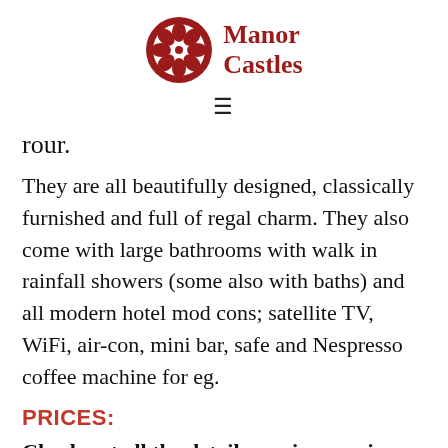Manor Castles
rour.
They are all beautifully designed, classically furnished and full of regal charm. They also come with large bathrooms with walk in rainfall showers (some also with baths) and all modern hotel mod cons; satellite TV, WiFi, air-con, mini bar, safe and Nespresso coffee machine for eg.
PRICES:
Check out all the details – prices, reviews